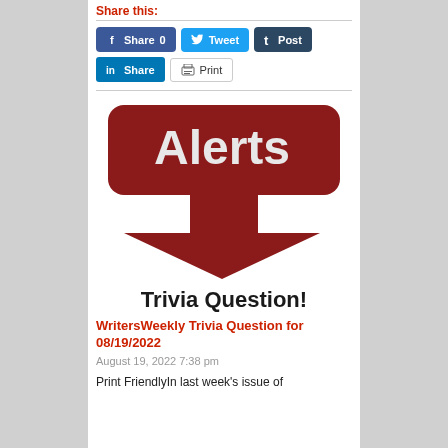Share this:
[Figure (screenshot): Social sharing buttons: Facebook Share 0, Twitter Tweet, Tumblr Post, LinkedIn Share, Print]
[Figure (infographic): Red rounded rectangle banner with bold white text 'Alerts' and a large red downward-pointing arrow below it]
Trivia Question!
WritersWeekly Trivia Question for 08/19/2022
August 19, 2022 7:38 pm
Print FriendlyIn last week's issue of